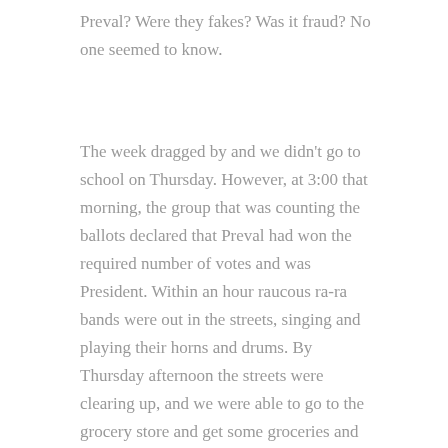Preval? Were they fakes? Was it fraud? No one seemed to know.
The week dragged by and we didn't go to school on Thursday. However, at 3:00 that morning, the group that was counting the ballots declared that Preval had won the required number of votes and was President. Within an hour raucous ra-ra bands were out in the streets, singing and playing their horns and drums. By Thursday afternoon the streets were clearing up, and we were able to go to the grocery store and get some groceries and water and go out to eat at Fiore di Latte. We probably could have gone to work on Friday, but the board voted to keep us all home one more day.